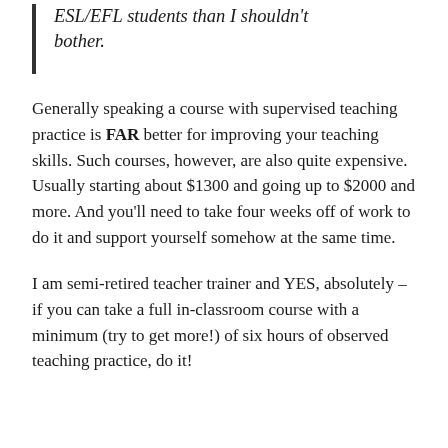ESL/EFL students than I shouldn't bother.
Generally speaking a course with supervised teaching practice is FAR better for improving your teaching skills. Such courses, however, are also quite expensive. Usually starting about $1300 and going up to $2000 and more. And you'll need to take four weeks off of work to do it and support yourself somehow at the same time.
I am semi-retired teacher trainer and YES, absolutely – if you can take a full in-classroom course with a minimum (try to get more!) of six hours of observed teaching practice, do it!